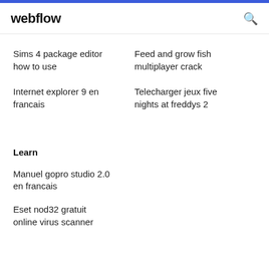webflow
Sims 4 package editor how to use
Feed and grow fish multiplayer crack
Internet explorer 9 en francais
Telecharger jeux five nights at freddys 2
Learn
Manuel gopro studio 2.0 en francais
Eset nod32 gratuit online virus scanner